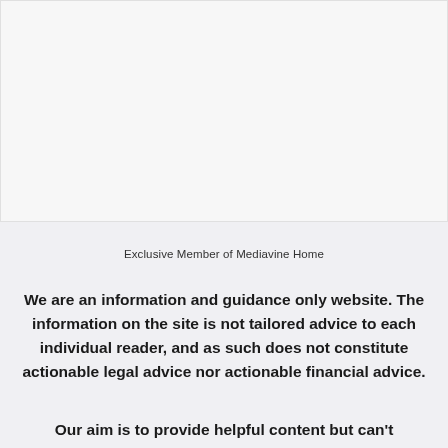[Figure (other): White/light gray rectangular placeholder area at the top of the page]
Exclusive Member of Mediavine Home
We are an information and guidance only website. The information on the site is not tailored advice to each individual reader, and as such does not constitute actionable legal advice nor actionable financial advice.
Our aim is to provide helpful content but can't guarantee that it is